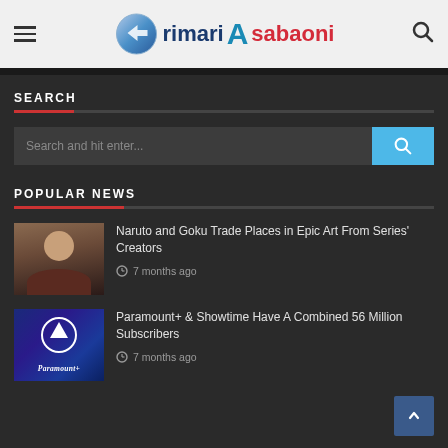rimari Asabaoni
SEARCH
Search and hit enter...
POPULAR NEWS
Naruto and Goku Trade Places in Epic Art From Series' Creators
7 months ago
Paramount+ & Showtime Have A Combined 56 Million Subscribers
7 months ago